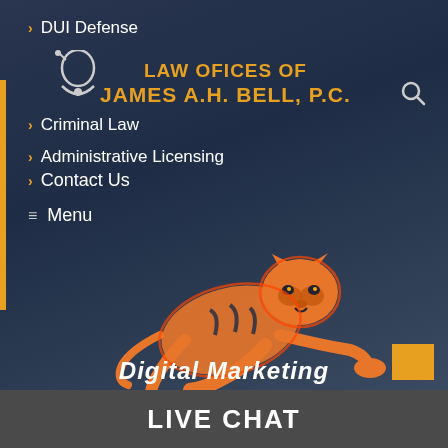DUI Defense
LAW OFICES OF JAMES A.H. BELL, P.C.
Criminal Law
Administrative Licensing
Contact Us
Menu
[Figure (logo): Cyberian Digital Marketing logo featuring an orange leaping tiger illustration above the text CYBERIAN Digital Marketing]
LIVE CHAT